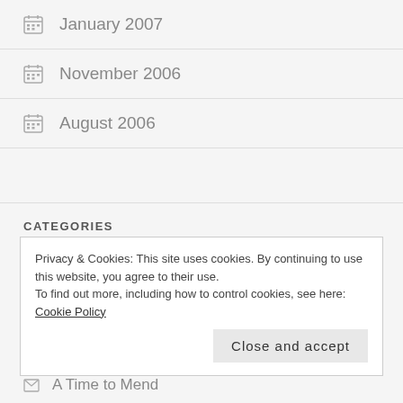January 2007
November 2006
August 2006
CATEGORIES
Privacy & Cookies: This site uses cookies. By continuing to use this website, you agree to their use. To find out more, including how to control cookies, see here: Cookie Policy
A Time to Mend